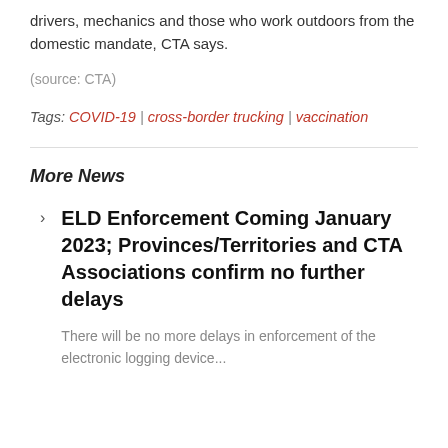drivers, mechanics and those who work outdoors from the domestic mandate, CTA says.
(source: CTA)
Tags: COVID-19 | cross-border trucking | vaccination
More News
ELD Enforcement Coming January 2023; Provinces/Territories and CTA Associations confirm no further delays
There will be no more delays in enforcement of the electronic logging device...